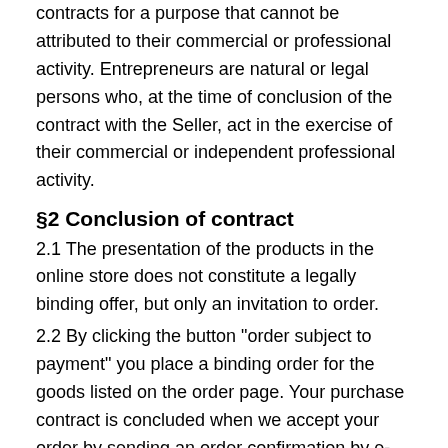contracts for a purpose that cannot be attributed to their commercial or professional activity. Entrepreneurs are natural or legal persons who, at the time of conclusion of the contract with the Seller, act in the exercise of their commercial or independent professional activity.
§2 Conclusion of contract
2.1 The presentation of the products in the online store does not constitute a legally binding offer, but only an invitation to order.
2.2 By clicking the button "order subject to payment" you place a binding order for the goods listed on the order page. Your purchase contract is concluded when we accept your order by sending an order confirmation by e-mail immediately after receiving your order.
§3 Right of withdrawal
If you are a consumer (i.e. a natural person who places the